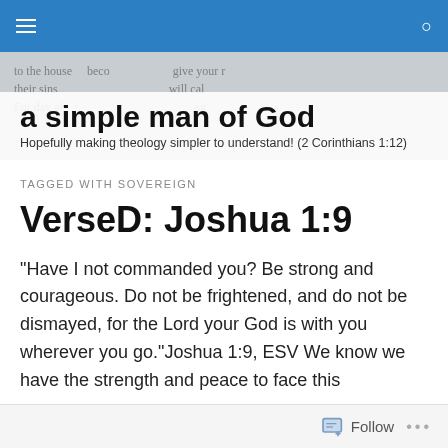Navigation bar with menu and search icons
[Figure (photo): Newspaper/Bible text background header image with site title overlay: 'a simple man of God' and tagline 'Hopefully making theology simpler to understand! (2 Corinthians 1:12)']
a simple man of God
Hopefully making theology simpler to understand! (2 Corinthians 1:12)
TAGGED WITH SOVEREIGN
VerseD: Joshua 1:9
"Have I not commanded you? Be strong and courageous. Do not be frightened, and do not be dismayed, for the Lord your God is with you wherever you go."Joshua 1:9, ESV We know we have the strength and peace to face this
Follow •••